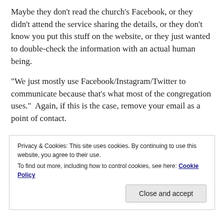Maybe they don't read the church's Facebook, or they didn't attend the service sharing the details, or they don't know you put this stuff on the website, or they just wanted to double-check the information with an actual human being.
“We just mostly use Facebook/Instagram/Twitter to communicate because that’s what most of the congregation uses.”  Again, if this is the case, remove your email as a point of contact.
Privacy & Cookies: This site uses cookies. By continuing to use this website, you agree to their use.
To find out more, including how to control cookies, see here: Cookie Policy
Close and accept